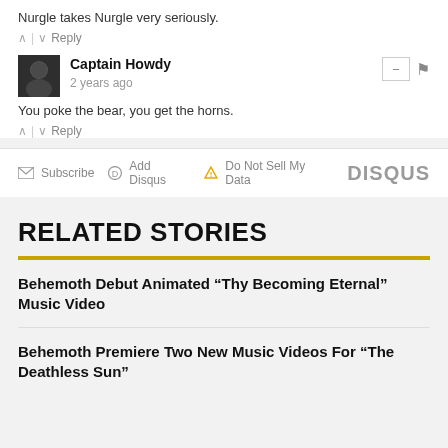Nurgle takes Nurgle very seriously.
∧ | ∨ Reply
Captain Howdy
2 years ago
You poke the bear, you get the horns.
∧ | ∨ Reply
Subscribe  Add Disqus  Do Not Sell My Data  DISQUS
RELATED STORIES
Behemoth Debut Animated “Thy Becoming Eternal” Music Video
Behemoth Premiere Two New Music Videos For “The Deathless Sun”